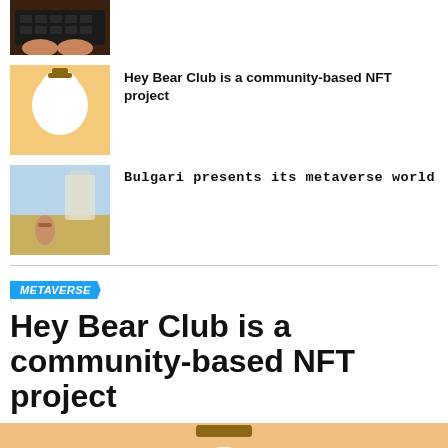[Figure (photo): Thumbnail image: hands on keyboard, partial view]
[Figure (illustration): Thumbnail: cartoon bear characters, Hey Bear Club NFT art]
Hey Bear Club is a community-based NFT project
[Figure (screenshot): Thumbnail: Bulgari metaverse world, animated character in a scene]
Bulgari presents its metaverse world
METAVERSE
Hey Bear Club is a community-based NFT project
[Figure (illustration): Large cartoon bear character on orange/tan background, Hey Bear Club NFT art]